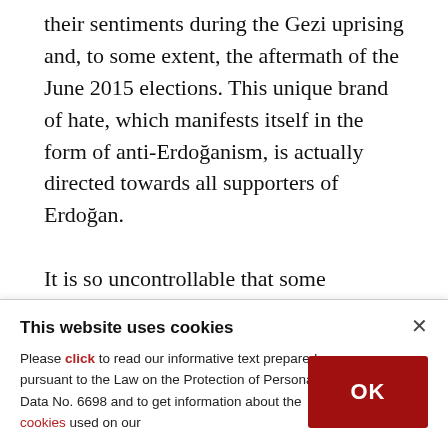their sentiments during the Gezi uprising and, to some extent, the aftermath of the June 2015 elections. This unique brand of hate, which manifests itself in the form of anti-Erdoğanism, is actually directed towards all supporters of Erdoğan.

It is so uncontrollable that some opposition voters directed their anger at their family members. These people must be rehabilitated. I do not know how, but we will have to deal with them.
This website uses cookies

Please click to read our informative text prepared pursuant to the Law on the Protection of Personal Data No. 6698 and to get information about the cookies used on our